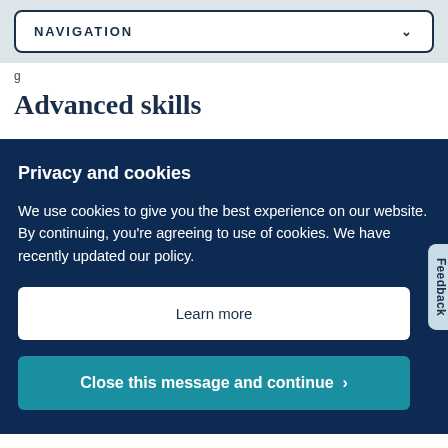NAVIGATION
g
Advanced skills
Privacy and cookies
We use cookies to give you the best experience on our website. By continuing, you're agreeing to use of cookies. We have recently updated our policy.
Learn more
Close this message and continue >